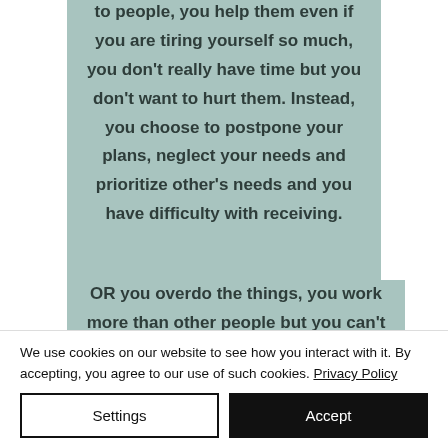to people, you help them even if you are tiring yourself so much, you don't really have time but you don't want to hurt them. Instead, you choose to postpone your plans, neglect your needs and prioritize other's needs and you have difficulty with receiving.
OR you overdo the things, you work more than other people but you can't ask for
We use cookies on our website to see how you interact with it. By accepting, you agree to our use of such cookies. Privacy Policy